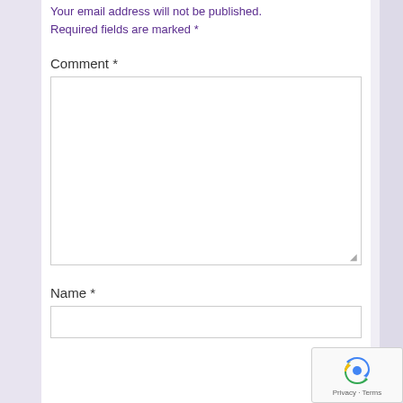Your email address will not be published.
Required fields are marked *
Comment *
Name *